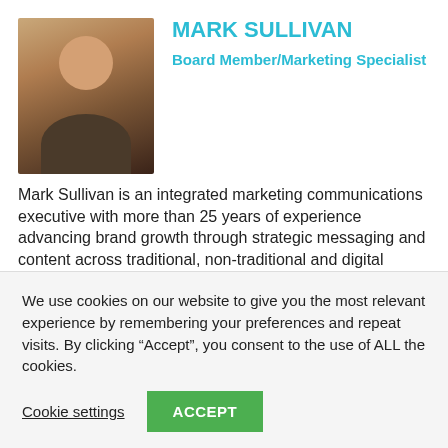[Figure (photo): Headshot photo of Mark Sullivan, a middle-aged man with gray-brown hair, smiling, wearing a dark blazer.]
MARK SULLIVAN
Board Member/Marketing Specialist
Mark Sullivan is an integrated marketing communications executive with more than 25 years of experience advancing brand growth through strategic messaging and content across traditional, non-traditional and digital marketing channels. Mark currently serves as Global Marketing Communications Director at 3M in St. Paul, Minnesota, in its growing Medical Solutions Division. Mark previously worked as an Integrated Marketing Communications Director at Cardiovascular Systems, Inc., a medical device company in St. Paul, as well as 15 years
We use cookies on our website to give you the most relevant experience by remembering your preferences and repeat visits. By clicking “Accept”, you consent to the use of ALL the cookies.
Cookie settings
ACCEPT